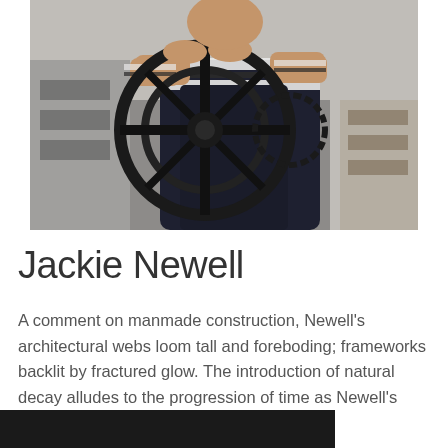[Figure (photo): A person leaning on a large industrial printing press wheel, wearing a striped long-sleeve shirt and dark apron/vest, in what appears to be a workshop or studio setting.]
Jackie Newell
A comment on manmade construction, Newell's architectural webs loom tall and foreboding; frameworks backlit by fractured glow. The introduction of natural decay alludes to the progression of time as Newell's pieces remain